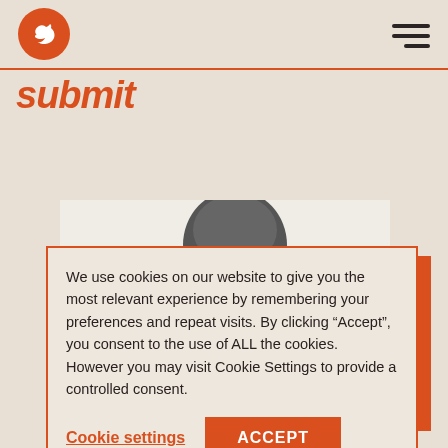[Figure (logo): Orange circular logo with a white bird/dove icon inside]
submit
[Figure (photo): Grayscale photo of a person, showing top of head and torso]
We use cookies on our website to give you the most relevant experience by remembering your preferences and repeat visits. By clicking “Accept”, you consent to the use of ALL the cookies. However you may visit Cookie Settings to provide a controlled consent.
Cookie settings
ACCEPT